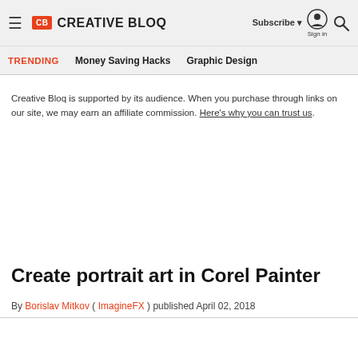CB Creative Bloq | Subscribe | Sign in
TRENDING | Money Saving Hacks | Graphic Design
Creative Bloq is supported by its audience. When you purchase through links on our site, we may earn an affiliate commission. Here's why you can trust us.
Create portrait art in Corel Painter
By Borislav Mitkov ( ImagineFX ) published April 02, 2018